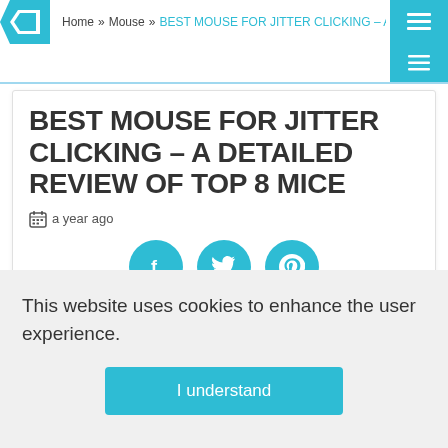Home » Mouse » BEST MOUSE FOR JITTER CLICKING – A DETAILED REVIEW...
BEST MOUSE FOR JITTER CLICKING – A DETAILED REVIEW OF TOP 8 MICE
a year ago
[Figure (illustration): Three teal social sharing buttons: Facebook, Twitter, Pinterest]
When competing professionally, your every move
This website uses cookies to enhance the user experience.
I understand